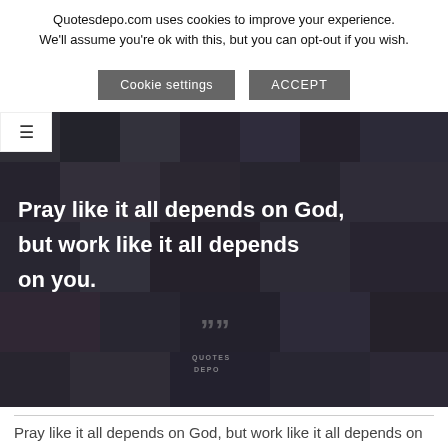Quotesdepo.com uses cookies to improve your experience. We'll assume you're ok with this, but you can opt-out if you wish.
[Figure (screenshot): Cookie consent buttons: 'Cookie settings' and 'ACCEPT' on dark grey backgrounds]
[Figure (photo): Dark background image with white bold text reading 'Pray like it all depends on God, but work like it all depends on you.' with a Quotes Depo watermark logo at the bottom center.]
Pray like it all depends on God, but work like it all depends on you.